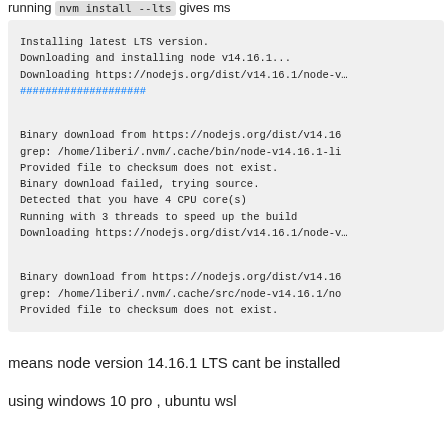running nvm install --lts gives ms
[Figure (screenshot): Terminal output block showing nvm install process: Installing latest LTS version, Downloading and installing node v14.16.1..., Downloading https://nodejs.org/dist/v14.16.1/node-v..., ####################, Binary download from https://nodejs.org/dist/v14.16, grep: /home/liberi/.nvm/.cache/bin/node-v14.16.1-li, Provided file to checksum does not exist., Binary download failed, trying source., Detected that you have 4 CPU core(s), Running with 3 threads to speed up the build, Downloading https://nodejs.org/dist/v14.16.1/node-v..., Binary download from https://nodejs.org/dist/v14.16, grep: /home/liberi/.nvm/.cache/src/node-v14.16.1/no, Provided file to checksum does not exist.]
means node version 14.16.1 LTS cant be installed
using windows 10 pro , ubuntu wsl